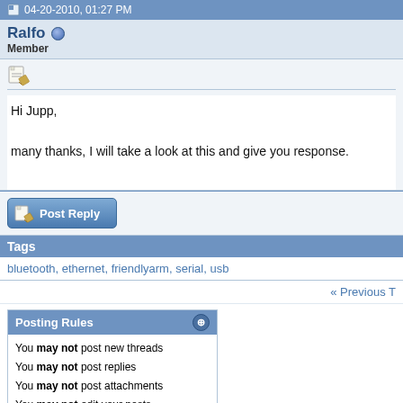04-20-2010, 01:27 PM
Ralfo
Member
Hi Jupp,

many thanks, I will take a look at this and give you response.
[Figure (screenshot): Post Reply button]
Tags
bluetooth, ethernet, friendlyarm, serial, usb
« Previous T
Posting Rules
You may not post new threads
You may not post replies
You may not post attachments
You may not edit your posts
BB code is On
Smilies are On
[IMG] code is On